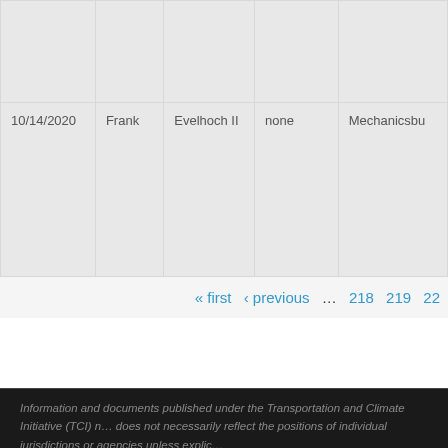|  |  |  |  |  |
| 10/14/2020 | Frank | Evelhoch II | none | Mechanicsbu |
« first ‹ previous … 218 219 22
Information and documents published under the Transportation and Climate Initiative (TCI) does not necessarily reflect the positions of individual jurisdictions or agencies unless explic...